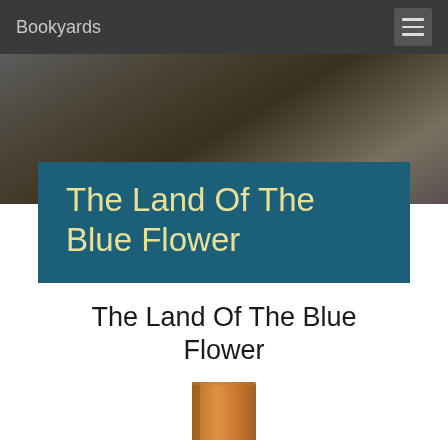Bookyards
[Figure (screenshot): Website header navigation bar with Bookyards logo on left and hamburger menu icon on right, dark gray background]
[Figure (photo): Blurred dark background photo with brown/gold tones suggesting a book or lamp scene]
The Land Of The Blue Flower
The Land Of The Blue Flower
[Figure (photo): Orange/tan colored book cover partially visible at bottom of page]